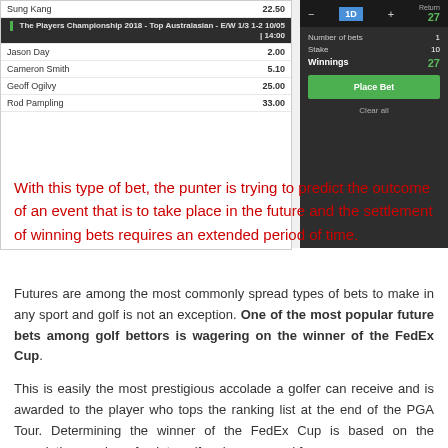[Figure (screenshot): Betting interface screenshot showing a golf betting panel. Left side shows a table with player names and odds: Sung Kang 22.50, The Players Championship 2018 - Top Australasian - E/W 1/3 1-2 10/05 | 14:00, Jason Day 2.00, Cameron Smith 5.10, Geoff Ogilvy 25.00, Rod Pampling 33.00. Right side shows a betting slip with 1D bet, Return 27, Number of bets 1, Stake 10, Winnings 27, Place Bet button, Clear all button.]
With this type of bet, the punter is trying to predict the outcome of an event that is to take place in the future and the settlement of winning bets requires an extended period of time.
Futures are among the most commonly spread types of bets to make in any sport and golf is not an exception. One of the most popular future bets among golf bettors is wagering on the winner of the FedEx Cup.
This is easily the most prestigious accolade a golfer can receive and is awarded to the player who tops the ranking list at the end of the PGA Tour. Determining the winner of the FedEx Cup is based on the cumulative number of points golfers have earned from